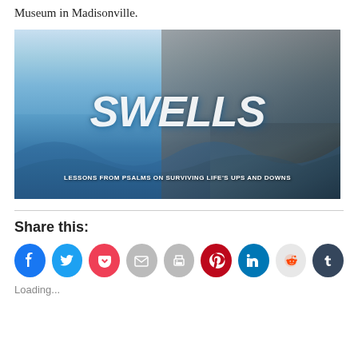Museum in Madisonville.
[Figure (illustration): Book cover image for 'SWELLS: Lessons from Psalms on Surviving Life's Ups and Downs'. Large italic white text 'SWELLS' over a sailing/nautical background with ocean and mast imagery.]
Share this:
[Figure (infographic): Row of social media sharing icon buttons: Facebook (blue), Twitter (light blue), Pocket (red), Email (grey), Print (grey), Pinterest (dark red), LinkedIn (teal), Reddit (light grey), Tumblr (dark navy)]
Loading...